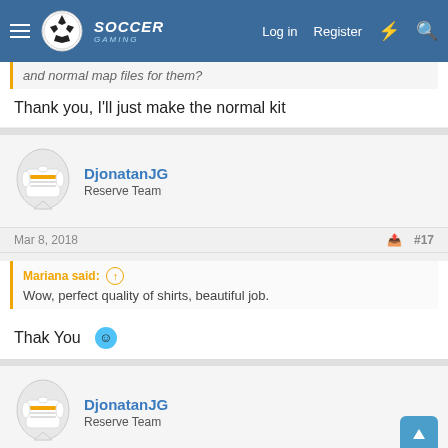Soccer Gaming — Log in | Register
and normal map files for them?
Thank you, I'll just make the normal kit
[Figure (other): User avatar for DjonatanJG showing a soccer jersey]
DjonatanJG
Reserve Team
Mar 8, 2018  #17
Mariana said: ⊕  Wow, perfect quality of shirts, beautiful job.
Thak You 🙂
[Figure (other): User avatar for DjonatanJG showing a soccer jersey]
DjonatanJG
Reserve Team
Mar 8, 2018  #18